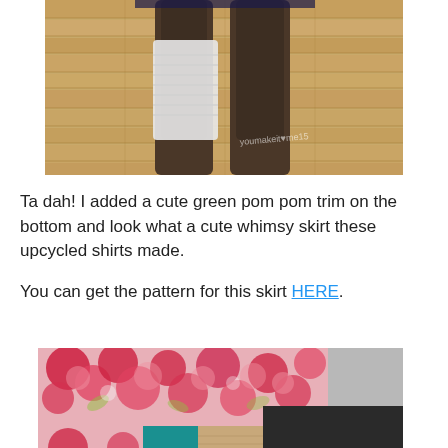[Figure (photo): Close-up photo of boots on a hardwood floor, with white fabric/yarn around the leg area. Watermark reads 'youmakeit.love15' or similar in bottom right of photo.]
Ta dah!  I added a cute green pom pom trim on the bottom and look what a cute whimsy skirt these upcycled shirts made.
You can get the pattern for this skirt HERE.
[Figure (photo): Photo of colorful fabric pieces laid flat: floral pink/red fabric on top, with strips of teal, tan/beige textured, and dark charcoal/black fabric below.]